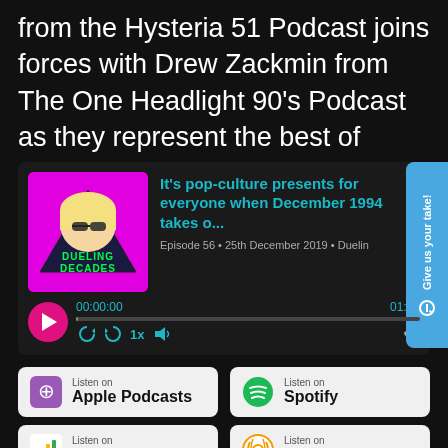from the Hysteria 51 Podcast joins forces with Drew Zackmin from The One Headlight 90's Podcast as they represent the best of
[Figure (screenshot): Podcast player for 'It's pop-culture presents for everyone when December 1994 takes o...' Episode 56, 25th December 2019, Dueling Decades. Shows album art with 'DUELING DECADES' logo, time 00:00:00 / 01:21, playback controls, and a 'Give us your take!' side button.]
[Figure (logo): Apple Podcasts badge: Listen on Apple Podcasts]
[Figure (logo): Spotify badge: Listen on Spotify]
[Figure (logo): Google Podcasts badge: Listen on Google Podcasts]
[Figure (logo): Overcast badge: Listen on Overcast]